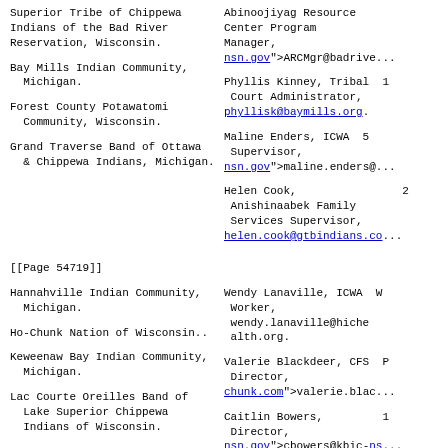Superior Tribe of Chippewa Indians of the Bad River Reservation, Wisconsin.
Abinoojiyag Resource Center Program Manager, nsn.gov">ARCMgr@badrive...
Bay Mills Indian Community, Michigan.
Phyllis Kinney, Tribal Court Administrator, phyllisk@baymills.org.
Forest County Potawatomi Community, Wisconsin.
Maline Enders, ICWA Supervisor, nsn.gov">maline.enders@...
Grand Traverse Band of Ottawa & Chippewa Indians, Michigan.
Helen Cook, Anishinaabek Family Services Supervisor, helen.cook@gtbindians.co...
[[Page 54719]]
Hannahville Indian Community, Michigan.
Wendy Lanaville, ICWA Worker, wendy.lanaville@hichemalth.org.
Ho-Chunk Nation of Wisconsin..
Valerie Blackdeer, CFS Director, chunk.com">valerie.blac...
Keweenaw Bay Indian Community, Michigan.
Caitlin Bowers, Director, nsn.gov">cbowers@kbic-ns...
Lac Courte Oreilles Band of Lake Superior Chippewa Indians of Wisconsin.
Tibissum Rice, Indian Child Welfare Director,